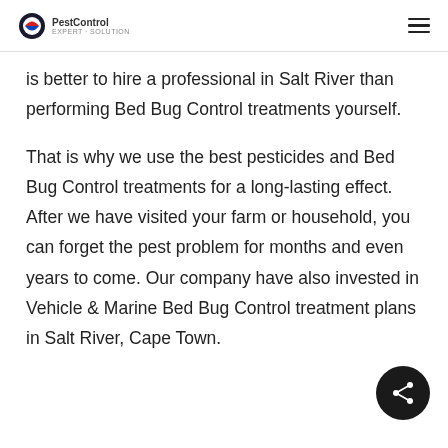PestControl
is better to hire a professional in Salt River than performing Bed Bug Control treatments yourself.
That is why we use the best pesticides and Bed Bug Control treatments for a long-lasting effect. After we have visited your farm or household, you can forget the pest problem for months and even years to come. Our company have also invested in Vehicle & Marine Bed Bug Control treatment plans in Salt River, Cape Town.